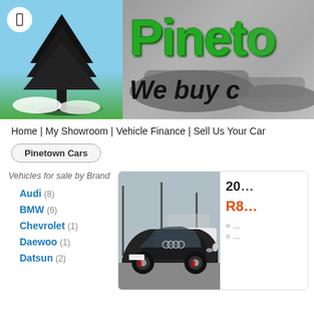[Figure (logo): Pinetown Cars website banner with tree logo on left, 'Pineto' (Pinetown) green text and 'We buy' italic text on right with blurred cars background]
Home | My Showroom | Vehicle Finance | Sell Us Your Car
Pinetown Cars
Vehicles for sale by Brand
Audi (8)
BMW (6)
Chevrolet (1)
Daewoo (1)
Datsun (2)
[Figure (photo): Black Audi car in a parking lot, front three-quarter view]
20…
R8…